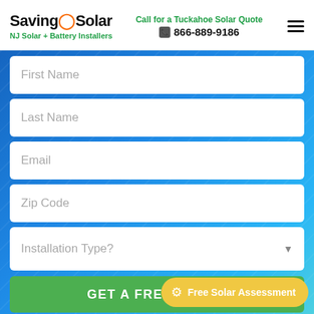SavingOnSolar — NJ Solar + Battery Installers | Call for a Tuckahoe Solar Quote | 866-889-9186
[Figure (screenshot): Web form with fields: First Name, Last Name, Email, Zip Code, Installation Type dropdown, and GET A FREE QUOTE button on a blue gradient background]
* A qualified solar advisor will help…
Free Solar Assessment